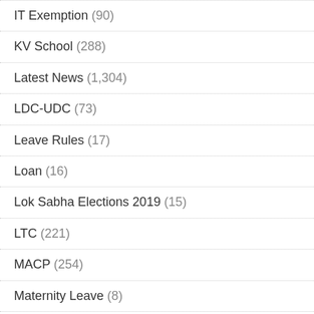IT Exemption (90)
KV School (288)
Latest News (1,304)
LDC-UDC (73)
Leave Rules (17)
Loan (16)
Lok Sabha Elections 2019 (15)
LTC (221)
MACP (254)
Maternity Leave (8)
NPS (94)